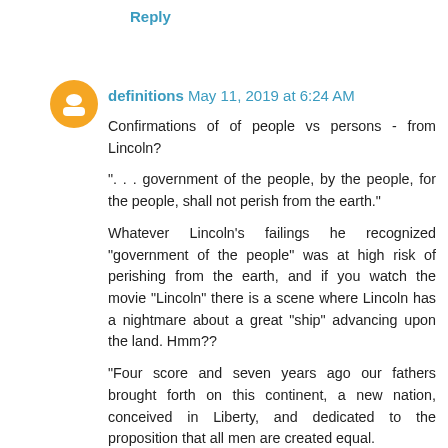Reply
definitions  May 11, 2019 at 6:24 AM
Confirmations of of people vs persons - from Lincoln?
". . . government of the people, by the people, for the people, shall not perish from the earth."
Whatever Lincoln's failings he recognized "government of the people" was at high risk of perishing from the earth, and if you watch the movie "Lincoln" there is a scene where Lincoln has a nightmare about a great "ship" advancing upon the land. Hmm??
"Four score and seven years ago our fathers brought forth on this continent, a new nation, conceived in Liberty, and dedicated to the proposition that all men are created equal.
Now we are engaged in a great civil war, testing whether that nation, or any nation so conceived and so dedicated,